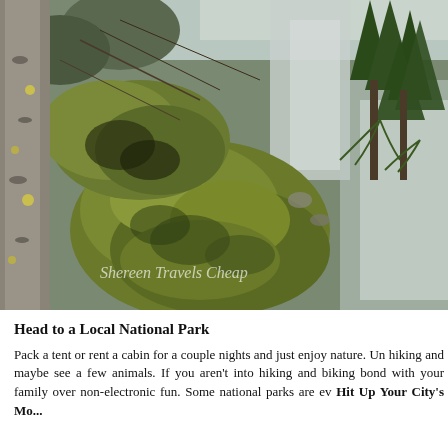[Figure (photo): Outdoor nature photo showing moss-covered boulders and rocks beside a rushing stream or waterfall, surrounded by evergreen trees with ferns. A birch tree trunk is visible on the left edge. Watermark reads 'Shereen Travels Cheap' across the lower portion of the image.]
Head to a Local National Park
Pack a tent or rent a cabin for a couple nights and just enjoy nature. Un hiking and maybe see a few animals. If you aren't into hiking and biking bond with your family over non-electronic fun. Some national parks are ev Hit Up Your City's Mo...